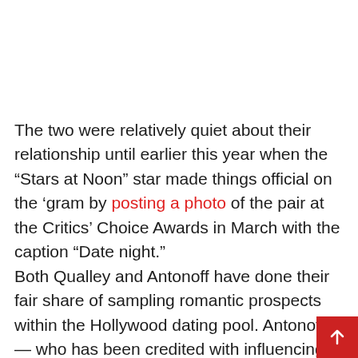The two were relatively quiet about their relationship until earlier this year when the “Stars at Noon” star made things official on the ‘gram by posting a photo of the pair at the Critics’ Choice Awards in March with the caption “Date night.”
Both Qualley and Antonoff have done their fair share of sampling romantic prospects within the Hollywood dating pool. Antonoff — who has been credited with influencing contemporary popular music by working with Taylor Swift, Lorde, Lana Del Ray and Carly Rae Jepsen — dated Lena Dunham